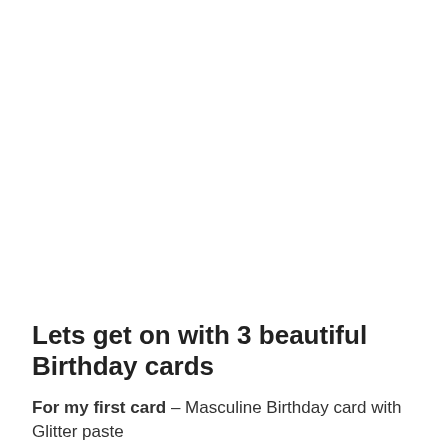Lets get on with 3 beautiful Birthday cards
For my first card – Masculine Birthday card with Glitter paste
I used the midnight black paper and stenciled glimmer pastes in holly green and sapphire blue through Overlapping circles